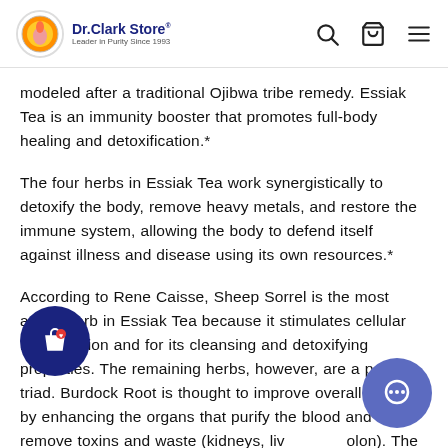Dr.Clark Store® | Leader in Purity Since 1993
modeled after a traditional Ojibwa tribe remedy. Essiak Tea is an immunity booster that promotes full-body healing and detoxification.*
The four herbs in Essiak Tea work synergistically to detoxify the body, remove heavy metals, and restore the immune system, allowing the body to defend itself against illness and disease using its own resources.*
According to Rene Caisse, Sheep Sorrel is the most active herb in Essiak Tea because it stimulates cellular regeneration and for its cleansing and detoxifying properties. The remaining herbs, however, are a potent triad. Burdock Root is thought to improve overall health by enhancing the organs that purify the blood and remove toxins and waste (kidneys, liver, and colon). The tannins in Rhubarb Root are useful in treating intestinal problems. Slippery Elm Bark is rich in mucilage, which swells in the body and becomes slippery as it passes through the digestive tract. This indigestible